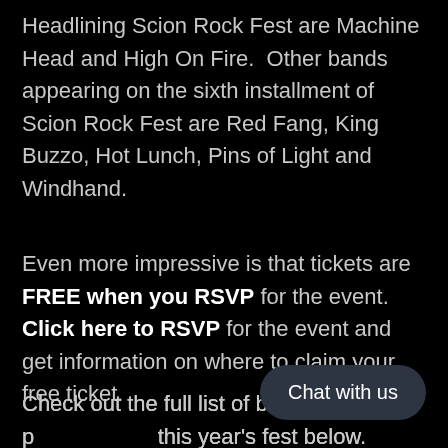Headlining Scion Rock Fest are Machine Head and High On Fire.  Other bands appearing on the sixth installment of Scion Rock Fest are Red Fang, King Buzzo, Hot Lunch, Pins of Light and Windhand.
Even more impressive is that tickets are FREE when you RSVP for the event. Click here to RSVP for the event and get information on where to claim your free ticket.
Check out the full list of bands performing at this year's fest below.